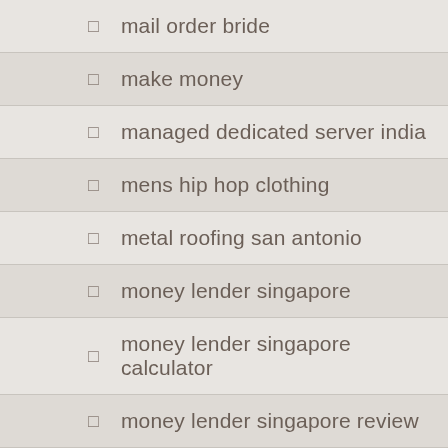mail order bride
make money
managed dedicated server india
mens hip hop clothing
metal roofing san antonio
money lender singapore
money lender singapore calculator
money lender singapore review